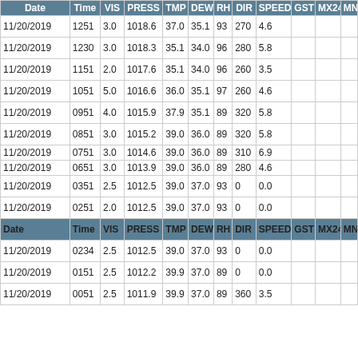| Date | Time | VIS | PRESS | TMP | DEW | RH | DIR | SPEED | GST | MX24 | MN |
| --- | --- | --- | --- | --- | --- | --- | --- | --- | --- | --- | --- |
| 11/20/2019 | 1251 | 3.0 | 1018.6 | 37.0 | 35.1 | 93 | 270 | 4.6 |  |  |  |
| 11/20/2019 | 1230 | 3.0 | 1018.3 | 35.1 | 34.0 | 96 | 280 | 5.8 |  |  |  |
| 11/20/2019 | 1151 | 2.0 | 1017.6 | 35.1 | 34.0 | 96 | 260 | 3.5 |  |  |  |
| 11/20/2019 | 1051 | 5.0 | 1016.6 | 36.0 | 35.1 | 97 | 260 | 4.6 |  |  |  |
| 11/20/2019 | 0951 | 4.0 | 1015.9 | 37.9 | 35.1 | 89 | 320 | 5.8 |  |  |  |
| 11/20/2019 | 0851 | 3.0 | 1015.2 | 39.0 | 36.0 | 89 | 320 | 5.8 |  |  |  |
| 11/20/2019 | 0751 | 3.0 | 1014.6 | 39.0 | 36.0 | 89 | 310 | 6.9 |  |  |  |
| 11/20/2019 | 0651 | 3.0 | 1013.9 | 39.0 | 36.0 | 89 | 280 | 4.6 |  |  |  |
| 11/20/2019 | 0351 | 2.5 | 1012.5 | 39.0 | 37.0 | 93 | 0 | 0.0 |  |  |  |
| 11/20/2019 | 0251 | 2.0 | 1012.5 | 39.0 | 37.0 | 93 | 0 | 0.0 |  |  |  |
| Date | Time | VIS | PRESS | TMP | DEW | RH | DIR | SPEED | GST | MX24 | MN |
| 11/20/2019 | 0234 | 2.5 | 1012.5 | 39.0 | 37.0 | 93 | 0 | 0.0 |  |  |  |
| 11/20/2019 | 0151 | 2.5 | 1012.2 | 39.9 | 37.0 | 89 | 0 | 0.0 |  |  |  |
| 11/20/2019 | 0051 | 2.5 | 1011.9 | 39.9 | 37.0 | 89 | 360 | 3.5 |  |  |  |